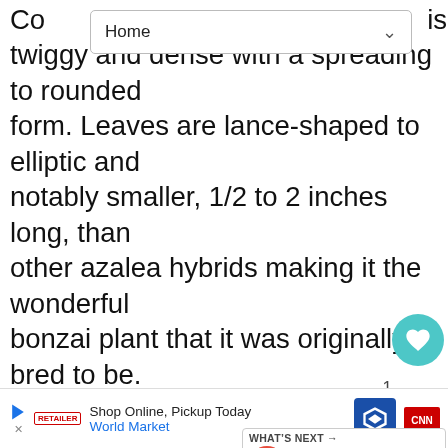[Figure (screenshot): Browser navigation bar showing 'Home' with dropdown chevron]
Co... is twiggy and dense with a spreading to rounded form. Leaves are lance-shaped to elliptic and notably smaller, 1/2 to 2 inches long, than other azalea hybrids making it the wonderful bonzai plant that it was originally bred to be. Showy, funnel-shaped, bright red flowers, 2 1/2 inches wide. Flowers are borne from May to June. Prune immediately after flowering so you won't cut off any of next year's flower buds. Plant as you would any of the other azaleas high and in well-drained, acidic soil, rich with organic matter. This is a front of the border azalea because of its lower height. Perfect for the... able to... st
[Figure (infographic): UI overlays: heart/save button (teal circle), share button, 'WHAT'S NEXT' panel with Abutilon megapotamic... thumbnail, bottom ad bar for World Market 'Shop Online, Pickup Today']